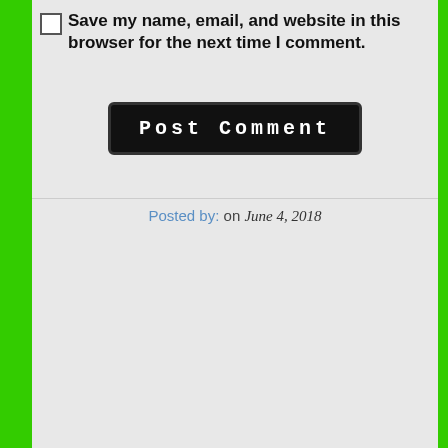Save my name, email, and website in this browser for the next time I comment.
Post Comment
Posted by: on June 4, 2018